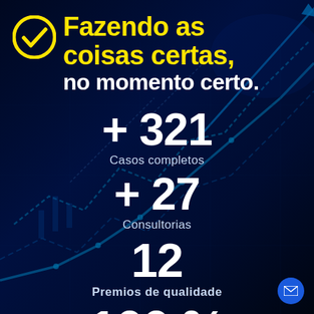[Figure (infographic): Dark background with blue stock market chart lines and arrows trending upward, used as decorative background]
Fazendo as coisas certas, no momento certo.
+ 321
Casos completos
+ 27
Consultorias
12
Premios de qualidade
100 %